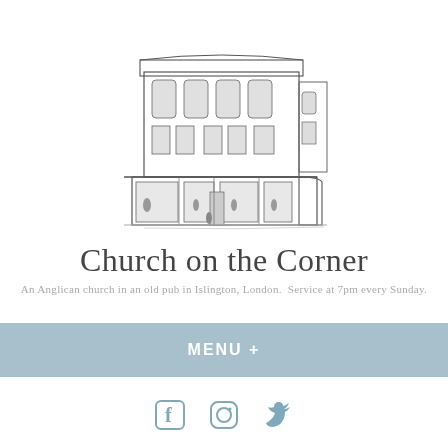[Figure (illustration): Pen and ink sketch/illustration of a corner building (an old pub) with multiple stories, arched windows on the upper floors, and large shop windows on the ground floor with figures inside and outside.]
Church on the Corner
An Anglican church in an old pub in Islington, London. Service at 7pm every Sunday.
MENU +
[Figure (other): Social media icons: Facebook, Instagram, Twitter in blue/grey color]